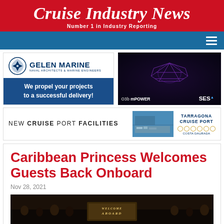Cruise Industry News — Number 1 in Industry Reporting
[Figure (logo): Gelen Marine Naval Architects & Marine Engineers advertisement with tagline: We propel your projects to a successful delivery!]
[Figure (photo): SES O3b mPOWER advertisement showing a satellite/spacecraft graphic in purple on dark background]
[Figure (infographic): Tarragona Cruise Port advertisement with text NEW CRUISE PORT FACILITIES and aerial port photo]
Caribbean Princess Welcomes Guests Back Onboard
Nov 28, 2021
[Figure (photo): Photo of people boarding the Caribbean Princess cruise ship, with a WELCOME ABOARD sign visible]